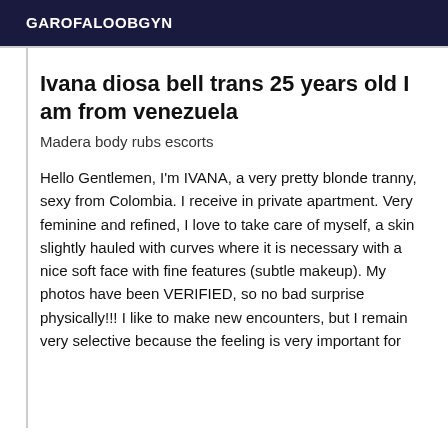GAROFALOOBGYN
Ivana diosa bell trans 25 years old I am from venezuela
Madera body rubs escorts
Hello Gentlemen, I'm IVANA, a very pretty blonde tranny, sexy from Colombia. I receive in private apartment. Very feminine and refined, I love to take care of myself, a skin slightly hauled with curves where it is necessary with a nice soft face with fine features (subtle makeup). My photos have been VERIFIED, so no bad surprise physically!!! I like to make new encounters, but I remain very selective because the feeling is very important for